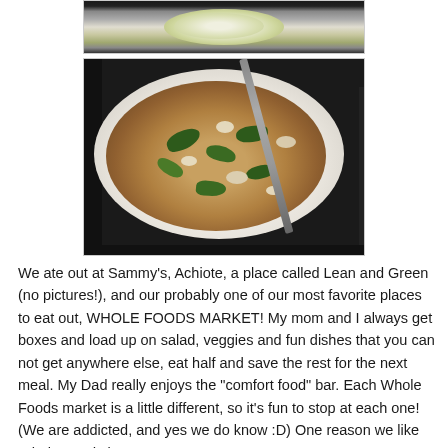[Figure (photo): Partial photo of a salad dish visible at top of page]
[Figure (photo): Photo of a spinach and cheese pizza on a white plate with a knife/server utensil]
We ate out at Sammy's, Achiote, a place called Lean and Green (no pictures!), and our probably one of our most favorite places to eat out, WHOLE FOODS MARKET! My mom and I always get boxes and load up on salad, veggies and fun dishes that you can not get anywhere else, eat half and save the rest for the next meal. My Dad really enjoys the "comfort food" bar. Each Whole Foods market is a little different, so it's fun to stop at each one! (We are addicted, and yes we do know :D) One reason we like Whole Foods is